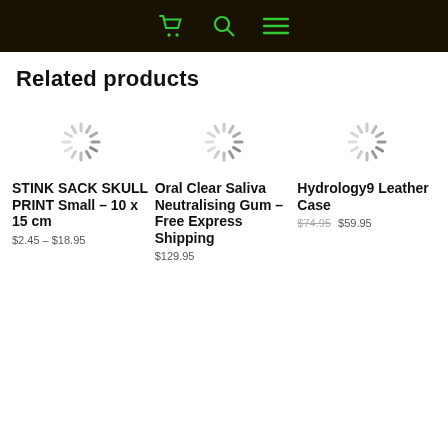Navigation bar with cart, search, and menu icons
Related products
[Figure (other): Loading spinner icon for product 1]
[Figure (other): Loading spinner icon for product 2]
[Figure (other): Loading spinner icon for product 3]
STINK SACK SKULL PRINT Small – 10 x 15 cm
$2.45 – $18.95
Oral Clear Saliva Neutralising Gum – Free Express Shipping
$129.95
Hydrology9 Leather Case
$74.95 $59.95